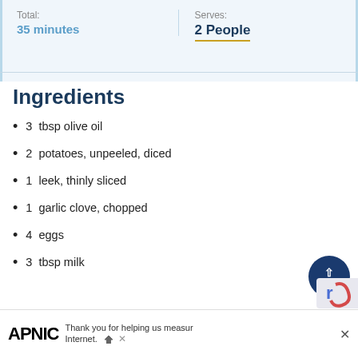Total:
35 minutes
Serves:
2 People
Ingredients
3  tbsp olive oil
2  potatoes, unpeeled, diced
1  leek, thinly sliced
1  garlic clove, chopped
4  eggs
3  tbsp milk
[Figure (other): TOP navigation button - circular dark blue button with up arrow and TOP text]
[Figure (other): APNIC advertisement banner with logo and text: Thank you for helping us measure Internet.]